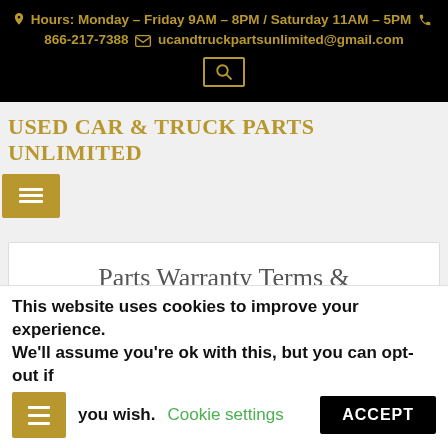Hours: Monday – Friday 9AM – 8PM / Saturday 11AM – 5PM  866-217-7388  ucandtruckpartsunlimited@gmail.com
USED CAR & TRUCK PARTS UNLIMITED
Parts Warranty Terms & Conditions
This website uses cookies to improve your experience. We'll assume you're ok with this, but you can opt-out if you wish.  Cookie settings  ACCEPT